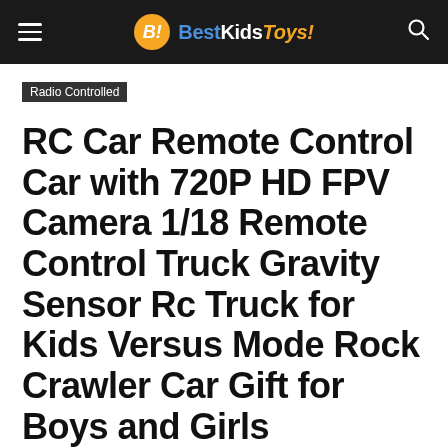BestKidsToys!
Radio Controlled
RC Car Remote Control Car with 720P HD FPV Camera 1/18 Remote Control Truck Gravity Sensor Rc Truck for Kids Versus Mode Rock Crawler Car Gift for Boys and Girls (Updated Android App)
By Best Kids Toys - May 29, 2021  136